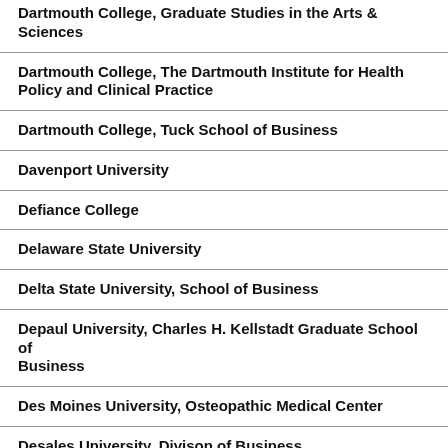Dartmouth College, Graduate Studies in the Arts & Sciences
Dartmouth College, The Dartmouth Institute for Health Policy and Clinical Practice
Dartmouth College, Tuck School of Business
Davenport University
Defiance College
Delaware State University
Delta State University, School of Business
Depaul University, Charles H. Kellstadt Graduate School of Business
Des Moines University, Osteopathic Medical Center
Desales University, Divison of Business